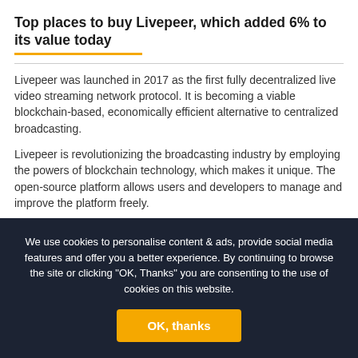Top places to buy Livepeer, which added 6% to its value today
Livepeer was launched in 2017 as the first fully decentralized live video streaming network protocol. It is becoming a viable blockchain-based, economically efficient alternative to centralized broadcasting.
Livepeer is revolutionizing the broadcasting industry by employing the powers of blockchain technology, which makes it unique. The open-source platform allows users and developers to manage and improve the platform freely.
The growing capabilities of digital cameras for producing high-quality video content drive the development of the broadcasting
We use cookies to personalise content & ads, provide social media features and offer you a better experience. By continuing to browse the site or clicking "OK, Thanks" you are consenting to the use of cookies on this website.
OK, thanks